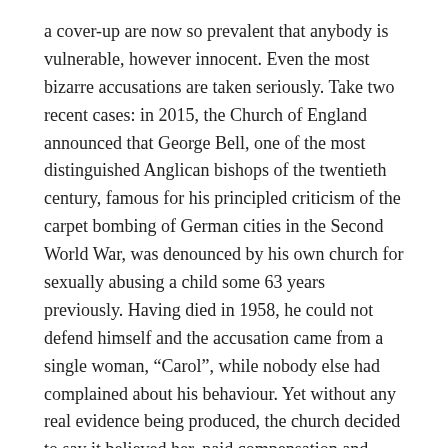a cover-up are now so prevalent that anybody is vulnerable, however innocent. Even the most bizarre accusations are taken seriously. Take two recent cases: in 2015, the Church of England announced that George Bell, one of the most distinguished Anglican bishops of the twentieth century, famous for his principled criticism of the carpet bombing of German cities in the Second World War, was denounced by his own church for sexually abusing a child some 63 years previously. Having died in 1958, he could not defend himself and the accusation came from a single woman, “Carol”, while nobody else had complained about his behaviour. Yet without any real evidence being produced, the church decided to say it believed her, paid compensation and denigrated one of its most highly regarded members.
An independent inquiry was established by Justin Welby, the Archbishop of Canterbury, which found that the original report was shoddy and ill-informed. This should have elicited an apology from Archbishop to the memory of Bishop Bell since